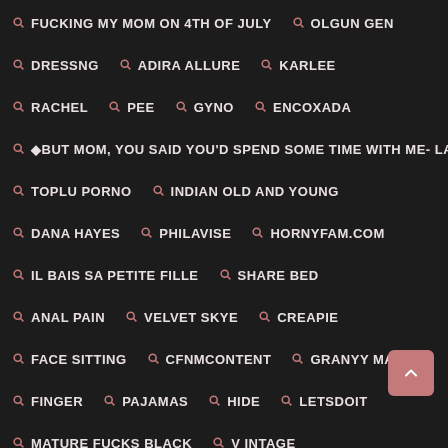FUCKING MY MOM ON 4TH OF JULY
OLGUN GEN
DRESSNG
ADIRA ALLURE
KARLEE
RACHEL
PEE
GYNO
ENCOXADA
BUT MOM, YOU SAID YOU'D SPEND SOME TIME WITH ME- LA
TOPLU PORNO
INDIAN OLD AND YOUNG
DANA HAYES
PHILAVISE
HORNYFAM.COM
IL BAIS SA PETITE FILLE
SHARE BED
ANAL PAIN
VELVET SKYE
CREAPIE
FACE SITTING
CFNMCONTENT
GRANYY MAMA
FINGER
PAJAMAS
HIDE
LETSDOIT
MATURE FUCKS BLACK
V INTAGE
REAL HOMEMADE WIFE CHEATING
FLAT CHEST